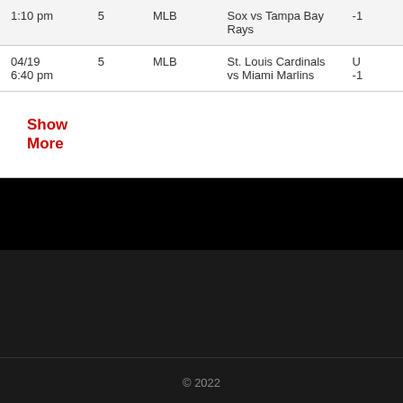| Date/Time | # | League | Matchup | Odds |
| --- | --- | --- | --- | --- |
| 1:10 pm | 5 | MLB | Sox vs Tampa Bay Rays | -1 |
| 04/19 6:40 pm | 5 | MLB | St. Louis Cardinals vs Miami Marlins | U -1 |
| Show More |  |  |  |  |
© 2022